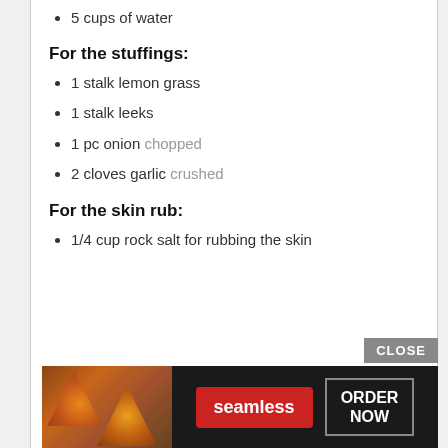5 cups of water
For the stuffings:
1 stalk lemon grass
1 stalk leeks
1 pc onion chopped
2 cloves garlic crushed
For the skin rub:
1/4 cup rock salt for rubbing the skin
[Figure (screenshot): Advertisement banner for Seamless food ordering service, showing pizza images on left, Seamless logo in red, and ORDER NOW button. A CLOSE button appears in top-right corner.]